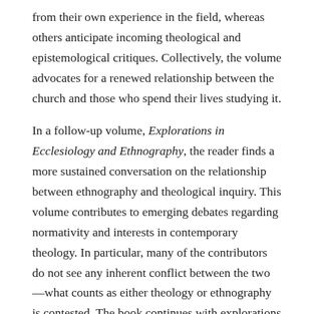from their own experience in the field, whereas others anticipate incoming theological and epistemological critiques. Collectively, the volume advocates for a renewed relationship between the church and those who spend their lives studying it.
In a follow-up volume, Explorations in Ecclesiology and Ethnography, the reader finds a more sustained conversation on the relationship between ethnography and theological inquiry. This volume contributes to emerging debates regarding normativity and interests in contemporary theology. In particular, many of the contributors do not see any inherent conflict between the two—what counts as either theology or ethnography is contested. The book continues with explorations of the ways in which liturgy sits at the intersection of church and society. If Perspectives began a new conversation among theologians engaging in the ethnographic study of the church, then Explorations extends the conversation into other areas of theological inquiry and begins to question the limits of the field of academic theology itself. It is a disruptive book. Time and again it shows that when theologians turn to ethnographic fieldwork, there is